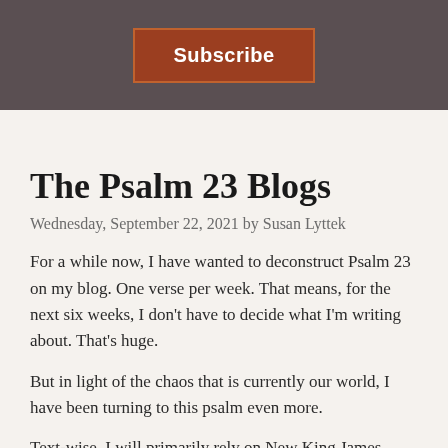Subscribe
The Psalm 23 Blogs
Wednesday, September 22, 2021 by Susan Lyttek
For a while now, I have wanted to deconstruct Psalm 23 on my blog. One verse per week. That means, for the next six weeks, I don't have to decide what I'm writing about. That's huge.
But in light of the chaos that is currently our world, I have been turning to this psalm even more.
Text-wise, I will primarily rely on New King James Version and occasionally Bible en Français Courant when